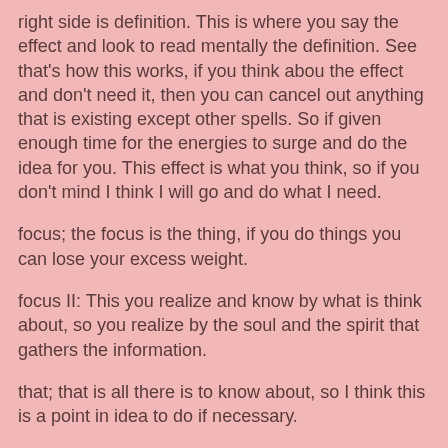right side is definition. This is where you say the effect and look to read mentally the definition. See that's how this works, if you think abou the effect and don't need it, then you can cancel out anything that is existing except other spells. So if given enough time for the energies to surge and do the idea for you. This effect is what you think, so if you don't mind I think I will go and do what I need.
focus; the focus is the thing, if you do things you can lose your excess weight.
focus II: This you realize and know by what is think about, so you realize by the soul and the spirit that gathers the information.
that; that is all there is to know about, so I think this is a point in idea to do if necessary.
messenger for windows; I can download the app for windows 10 using the microsoft store, and have it install with no stress and there is no problems.